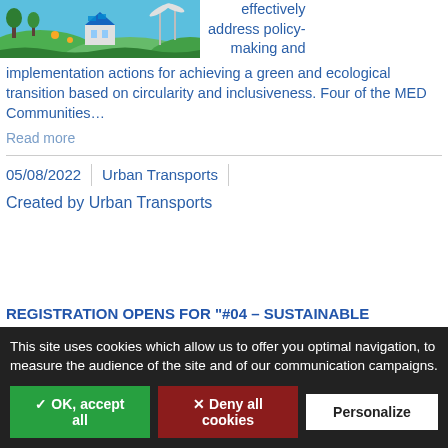[Figure (illustration): Colorful illustrated banner showing green landscape with trees, houses with solar panels, and wind turbines representing ecological/sustainable communities]
effectively address policy-making and implementation actions for achieving a green and ecological transition based on circularity and inclusiveness. Four of the MED Communities...
Read more
05/08/2022  |  Urban Transports
Created by Urban Transports
REGISTRATION OPENS FOR "#04 – SUSTAINABLE
This site uses cookies which allow us to offer you optimal navigation, to measure the audience of the site and of our communication campaigns.